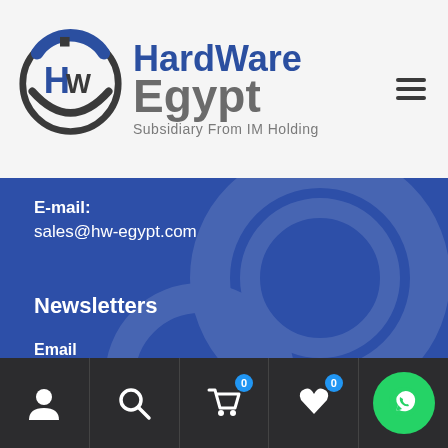[Figure (logo): HardWare Egypt logo - circular HW emblem with blue and dark grey colors, text 'HardWare Egypt - Subsidiary From IM Holding']
E-mail:
sales@hw-egypt.com
Newsletters
Email
[Figure (screenshot): Bottom navigation bar with user icon, search icon, cart icon (badge 0), wishlist icon (badge 0), and WhatsApp button]